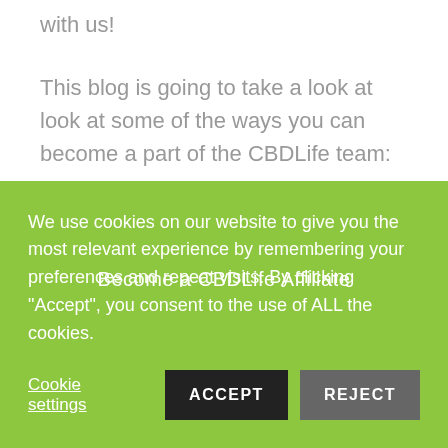with us!
This blog is going to take a look at look at some of the ways you can become a part of the CBDLife team:
1.Become an affiliate
[Figure (other): Dark banner image with text 'Become a CBDLife Affiliate']
Through our affiliate scheme, you can make money simply from directing people to our site! Share your
We use cookies on our website to give you the most relevant experience by remembering your preferences and repeat visits. By clicking "Accept", you consent to the use of ALL the cookies.
Cookie settings  ACCEPT  REJECT